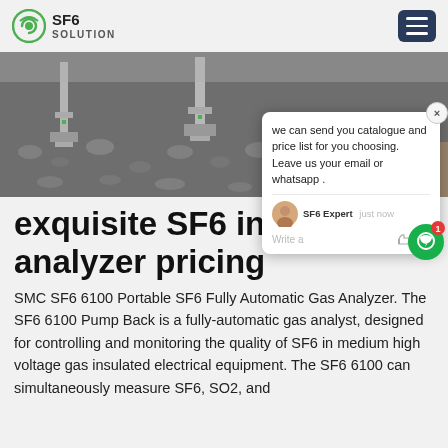SF6 SOLUTION
[Figure (photo): Outdoor electrical substation equipment with gravel ground, SF6 gas insulated switchgear visible]
exquisite SF6 instrument analyzer pricing
we can send you catalogue and price list for you choosing. Leave us your email or whatsapp .
SF6 Expert  just now
Write a
SMC SF6 6100 Portable SF6 Fully Automatic Gas Analyzer. The SF6 6100 Pump Back is a fully-automatic gas analyst, designed for controlling and monitoring the quality of SF6 in medium high voltage gas insulated electrical equipment. The SF6 6100 can simultaneously measure SF6, SO2, and H2S in the components.